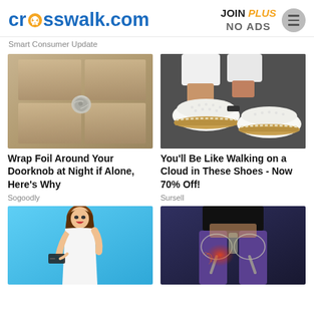crosswalk.com | JOIN PLUS NO ADS
Smart Consumer Update
[Figure (photo): Doorknob with aluminum foil wrapped around it on a door]
Wrap Foil Around Your Doorknob at Night if Alone, Here's Why
Sogoodly
[Figure (photo): Close-up of feet wearing white perforated slip-on shoes with gold trim]
You'll Be Like Walking on a Cloud in These Shoes - Now 70% Off!
Sursell
[Figure (photo): Young woman holding a credit card and smiling on a blue background]
[Figure (photo): Hip/pelvis area with X-ray overlay showing joint inflammation in red]